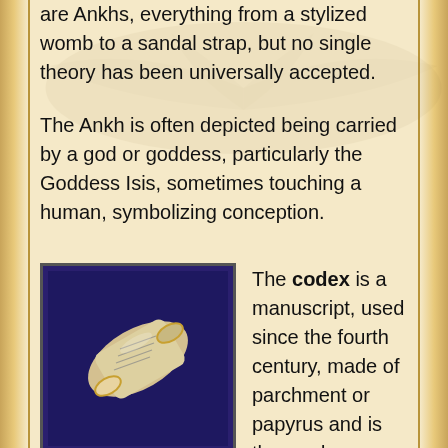are Ankhs, everything from a stylized womb to a sandal strap, but no single theory has been universally accepted.
The Ankh is often depicted being carried by a god or goddess, particularly the Goddess Isis, sometimes touching a human, symbolizing conception.
[Figure (illustration): A scroll or cylindrical codex object with inscribed markings, set against a dark navy/purple background]
The codex is a manuscript, used since the fourth century, made of parchment or papyrus and is the predecessor of the modern book. It is useful for